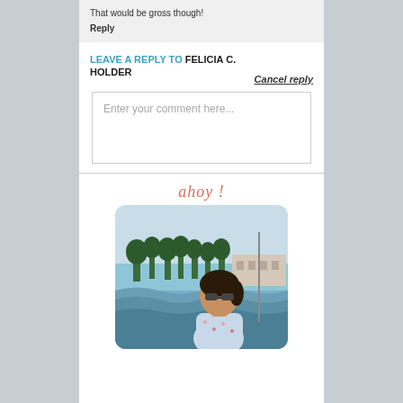That would be gross though!
Reply
LEAVE A REPLY TO FELICIA C. HOLDER
Cancel reply
Enter your comment here...
[Figure (photo): Woman with sunglasses sitting on a sailboat with water and palm trees in the background. Text 'ahoy!' appears above the photo in a cursive orange/coral font.]